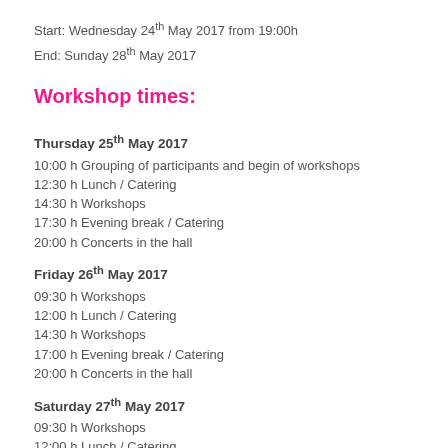Start: Wednesday 24th May 2017 from 19:00h
End: Sunday 28th May 2017
Workshop times:
Thursday 25th May 2017
10:00 h Grouping of participants and begin of workshops
12:30 h Lunch / Catering
14:30 h Workshops
17:30 h Evening break / Catering
20:00 h Concerts in the hall
Friday 26th May 2017
09:30 h Workshops
12:00 h Lunch / Catering
14:30 h Workshops
17:00 h Evening break / Catering
20:00 h Concerts in the hall
Saturday 27th May 2017
09:30 h Workshops
12:00 h Lunch / Catering
14:30 h Workshops
17:00 h Evening break / Catering
20:00 h Concerts in the hall